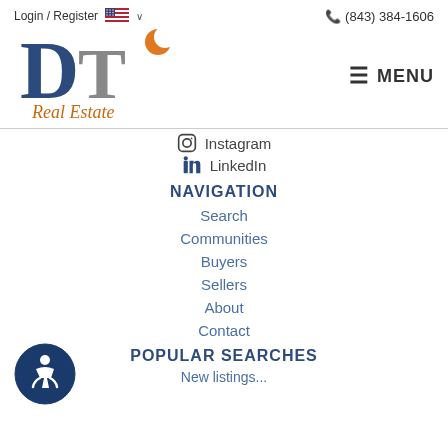Login / Register   🇺🇸 ∨   (843) 384-1606
[Figure (logo): DT Real Estate logo with blue D, gray T, orange crescent moon, and cursive 'Real Estate' text in orange]
≡ MENU
Instagram
LinkedIn
NAVIGATION
Search
Communities
Buyers
Sellers
About
Contact
POPULAR SEARCHES
New listings...